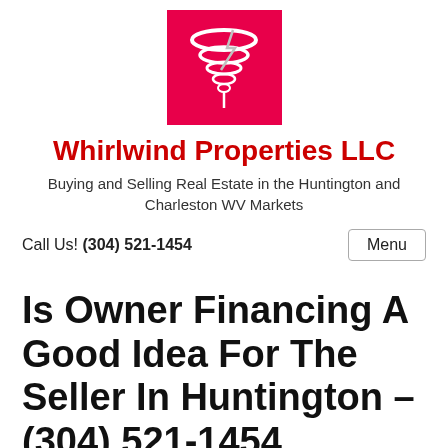[Figure (logo): Whirlwind Properties LLC logo: tornado graphic on red/pink square background]
Whirlwind Properties LLC
Buying and Selling Real Estate in the Huntington and Charleston WV Markets
Call Us! (304) 521-1454
Menu
Is Owner Financing A Good Idea For The Seller In Huntington – (304) 521-1454